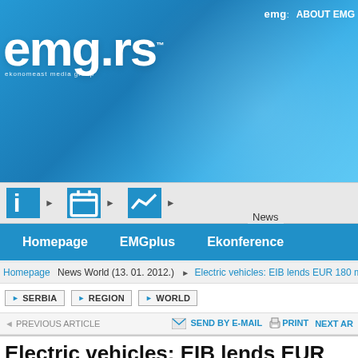emg.rs — ekonomeast media group — ABOUT EMG
Electric vehicles: EIB lends EUR 180 million Renault Group
13. January 2012. | 08:14
Source: Emg.rs